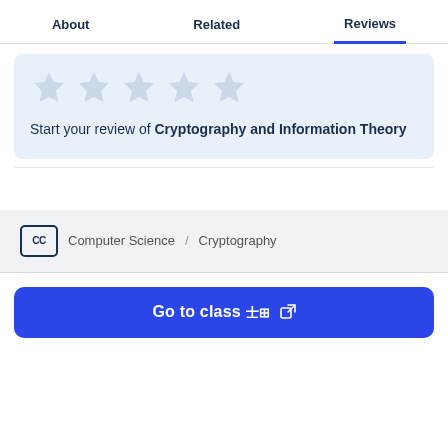About   Related   Reviews
[Figure (other): Five empty star icons for rating]
Start your review of Cryptography and Information Theory
Computer Science / Cryptography
Go to class